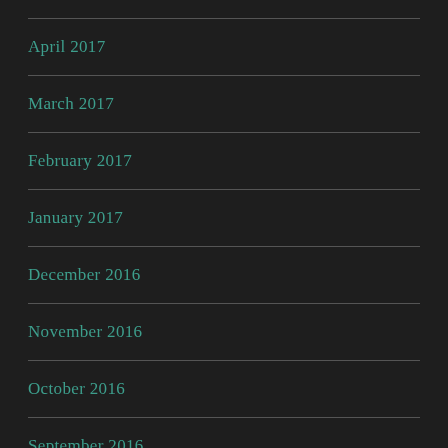April 2017
March 2017
February 2017
January 2017
December 2016
November 2016
October 2016
September 2016